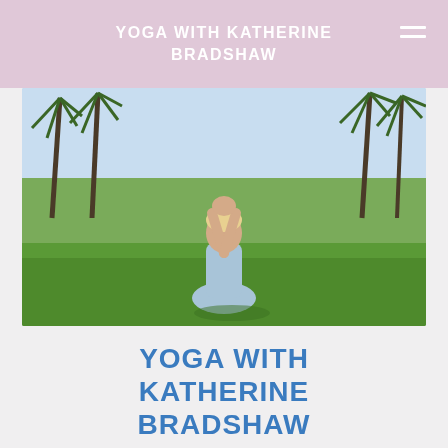YOGA WITH KATHERINE BRADSHAW
[Figure (photo): Woman in light blue yoga outfit performing a seated twist pose with hands raised on a green grass field, palm trees and blue sky in background]
YOGA WITH KATHERINE BRADSHAW
Embrace Yourself Through Movement